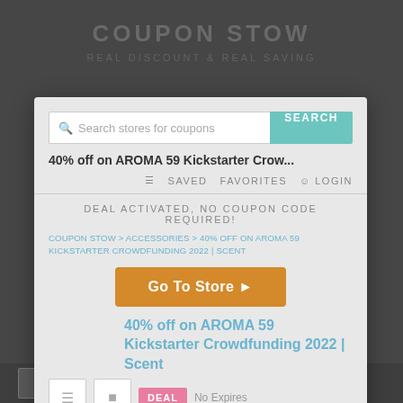COUPON STOW
REAL DISCOUNT & REAL SAVING
[Figure (screenshot): Modal popup dialog on a coupon website showing a 'Go To Store' button for '40% off on AROMA 59 Kickstarter Crowdfunding 2022 | Scent' deal, with search bar, breadcrumb navigation, DEAL badge, and No Expires text.]
DEAL ACTIVATED, NO COUPON CODE REQUIRED!
COUPON STOW > ACCESSORIES > 40% OFF ON AROMA 59 KICKSTARTER CROWDFUNDING 2022 | SCENT
Go To Store
40% off on AROMA 59 Kickstarter Crowdfunding 2022 | Scent
DEAL  No Expires
GET DEAL